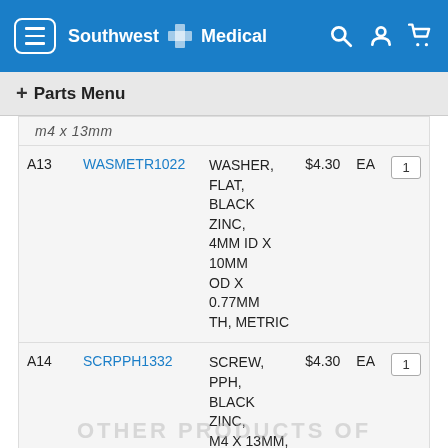[Figure (screenshot): Southwest Medical website header with navigation bar in blue, showing hamburger menu, logo, and icons for search, account, and cart]
+ Parts Menu
| Ref | Part Number | Description | Price | Unit | Qty |
| --- | --- | --- | --- | --- | --- |
| A13 | WASMETR1022 | WASHER, FLAT, BLACK ZINC, 4MM ID X 10MM OD X 0.77MM TH, METRIC | $4.30 | EA | 1 |
| A14 | SCRPPH1332 | SCREW, PPH, BLACK ZINC, M4 X 13MM, THREAD FORMING | $4.30 | EA | 1 |
OTHER PRODUCTS OF